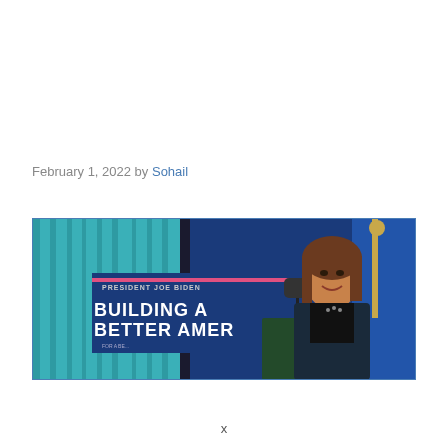February 1, 2022 by Sohail
[Figure (photo): A woman speaking at a podium. Behind her is a blue banner reading 'PRESIDENT JOE BIDEN BUILDING A BETTER AMERICA'. She is wearing a dark blazer and speaking into a microphone.]
x